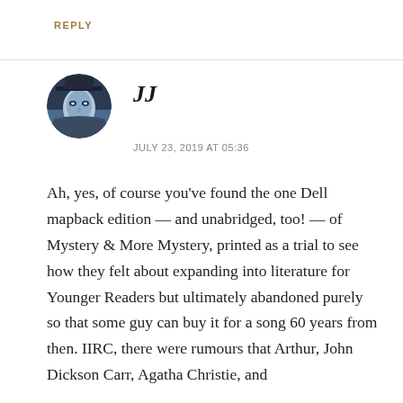REPLY
[Figure (photo): Circular avatar image of a masked phantom-like figure in blue/grey tones with decorative costume]
JJ
JULY 23, 2019 AT 05:36
Ah, yes, of course you’ve found the one Dell mapback edition — and unabridged, too! — of Mystery & More Mystery, printed as a trial to see how they felt about expanding into literature for Younger Readers but ultimately abandoned purely so that some guy can buy it for a song 60 years from then. IIRC, there were rumours that Arthur, John Dickson Carr, Agatha Christie, and